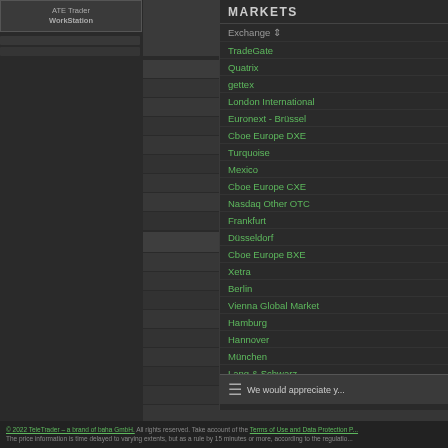[Figure (screenshot): ATE Trader WorkStation logo/widget in top-left panel]
MARKETS
Exchange
TradeGate
Quatrix
gettex
London International
Euronext - Brüssel
Cboe Europe DXE
Turquoise
Mexico
Cboe Europe CXE
Nasdaq Other OTC
Frankfurt
Düsseldorf
Cboe Europe BXE
Xetra
Berlin
Vienna Global Market
Hamburg
Hannover
München
Lang & Schwarz
Stuttgart
We would appreciate y...
© 2022 TeleTrader – a brand of baha GmbH. All rights reserved. Take account of the Terms of Use and Data Protection P... The price information is time delayed to varying extents, but as a rule by 15 minutes or more, according to the regulatio...